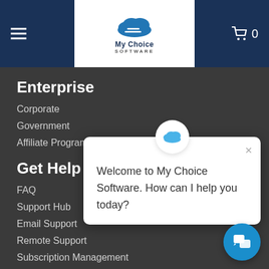My Choice SOFTWARE - navigation header with cart (0)
Enterprise
Corporate
Government
Affiliate Program
Get Help
FAQ
Support Hub
Email Support
Remote Support
Subscription Management
Company
About Us
Meet The Team
Reviews
[Figure (screenshot): Chat popup widget saying 'Welcome to My Choice Software. How can I help you today?' with a close button and cloud icon at top]